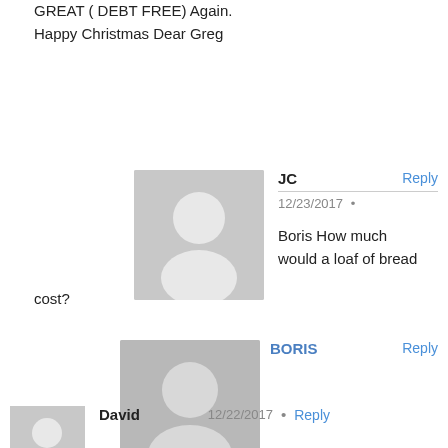GREAT ( DEBT FREE) Again.
Happy Christmas Dear Greg
JC
12/23/2017 •
Boris How much would a loaf of bread cost?
BORIS CHIKVASHVILI
12/25/2017 •
After a collapse, nothing(:-
David
12/22/2017 •